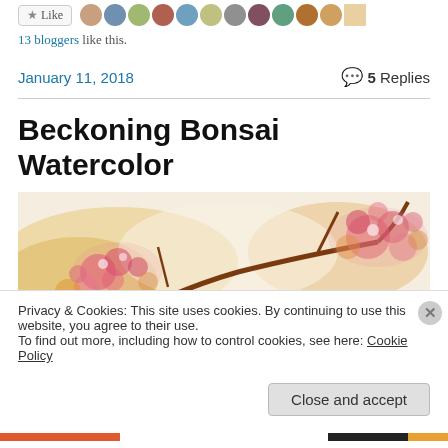[Figure (screenshot): Like button and avatar strip of bloggers who liked the post]
13 bloggers like this.
January 11, 2018   💬 5 Replies
Beckoning Bonsai Watercolor
[Figure (photo): Watercolor painting of a bonsai tree with red and orange blossoms on a light background]
Privacy & Cookies: This site uses cookies. By continuing to use this website, you agree to their use.
To find out more, including how to control cookies, see here: Cookie Policy
Close and accept